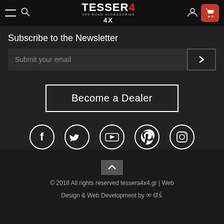TESSER4 4X - Off Road Accessories
Subscribe to the Newsletter
Submit your email
Become a Dealer
[Figure (illustration): Row of social media icons: Facebook, Twitter, YouTube, Pinterest, Instagram — white circle outlines on dark background]
© 2018 All rights reserved tessera4x4.gr | Web Design & Web Development by ෴